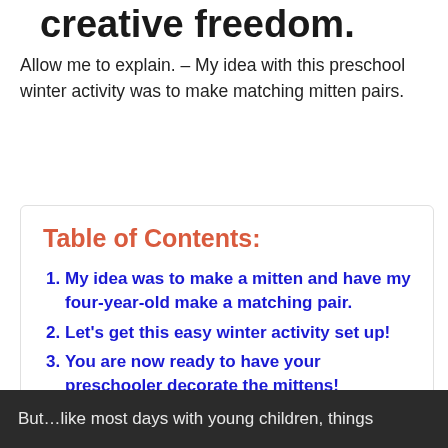creative freedom.
Allow me to explain. – My idea with this preschool winter activity was to make matching mitten pairs.
Table of Contents:
My idea was to make a mitten and have my four-year-old make a matching pair.
Let's get this easy winter activity set up!
You are now ready to have your preschooler decorate the mittens!
But…like most days with young children, things